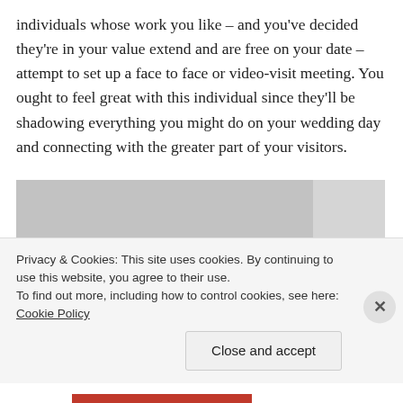individuals whose work you like – and you've decided they're in your value extend and are free on your date – attempt to set up a face to face or video-visit meeting. You ought to feel great with this individual since they'll be shadowing everything you might do on your wedding day and connecting with the greater part of your visitors.
[Figure (photo): Black and white photograph of wedding guests seated, looking forward, in formal attire, at what appears to be a wedding reception or ceremony.]
Privacy & Cookies: This site uses cookies. By continuing to use this website, you agree to their use.
To find out more, including how to control cookies, see here: Cookie Policy
Close and accept